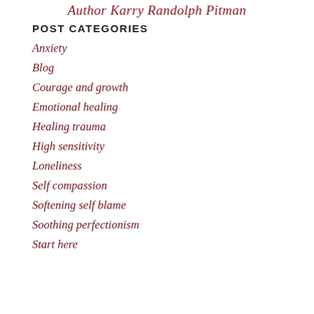Author Karry Randolph Pitman
POST CATEGORIES
Anxiety
Blog
Courage and growth
Emotional healing
Healing trauma
High sensitivity
Loneliness
Self compassion
Softening self blame
Soothing perfectionism
Start here